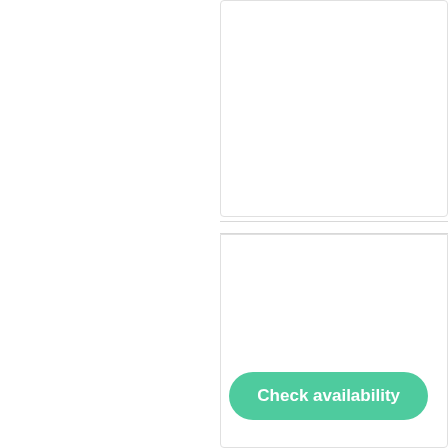lking distance of the Strait of
s
Check availability